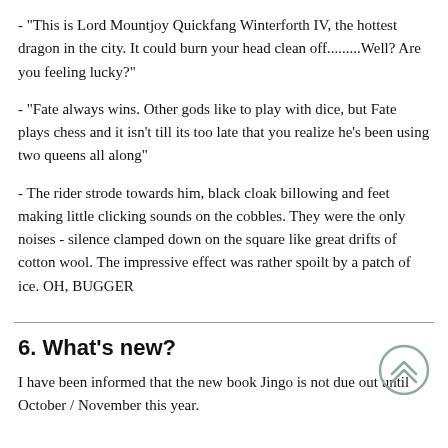- "This is Lord Mountjoy Quickfang Winterforth IV, the hottest dragon in the city. It could burn your head clean off.........Well? Are you feeling lucky?"
- "Fate always wins. Other gods like to play with dice, but Fate plays chess and it isn't till its too late that you realize he's been using two queens all along"
- The rider strode towards him, black cloak billowing and feet making little clicking sounds on the cobbles. They were the only noises - silence clamped down on the square like great drifts of cotton wool. The impressive effect was rather spoilt by a patch of ice. OH, BUGGER
6. What's new?
I have been informed that the new book Jingo is not due out until October / November this year.